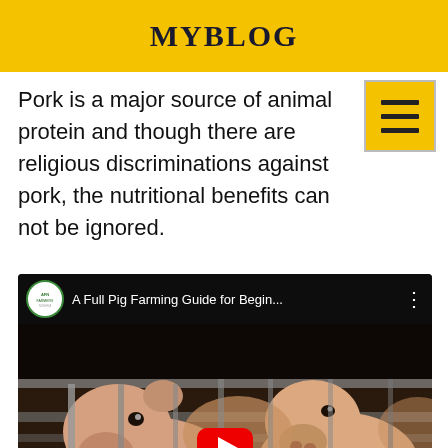MYBLOG
Pork is a major source of animal protein and though there are religious discriminations against pork, the nutritional benefits can not be ignored.
[Figure (screenshot): YouTube video embed titled 'A Full Pig Farming Guide for Begin...' showing pigs in a farm enclosure with YouTube play button overlay and a yellow scroll-up button.]